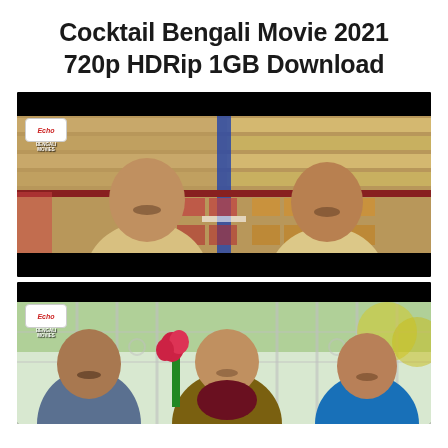Cocktail Bengali Movie 2021 720p HDRip 1GB Download
[Figure (screenshot): Movie still from Cocktail Bengali Movie showing two men in cream/beige shirts facing each other inside what appears to be a shop or warehouse with shelves of goods in the background. Echo Bengali Movies logo visible in top left corner.]
[Figure (screenshot): Movie still from Cocktail Bengali Movie showing three people in an outdoor garden setting with decorative iron gates. A man in blue shirt on left, a woman in yellow-green saree in the middle, and a younger man in blue t-shirt on the right. Pink flowers visible. Echo Bengali Movies logo in top left corner.]